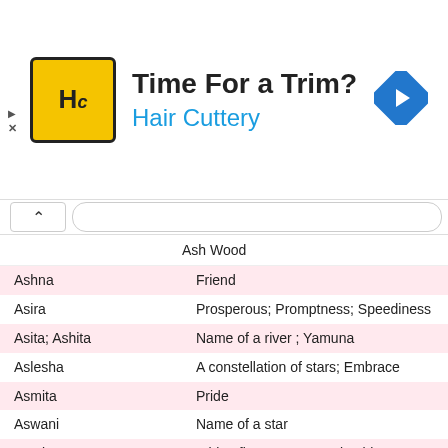[Figure (other): Hair Cuttery advertisement banner with yellow HC logo, text 'Time For a Trim?' and 'Hair Cuttery' in blue, and a blue navigation arrow icon]
| Name | Meaning |
| --- | --- |
|  | Ash Wood |
| Ashna | Friend |
| Asira | Prosperous; Promptness; Speediness |
| Asita; Ashita | Name of a river ; Yamuna |
| Aslesha | A constellation of stars; Embrace |
| Asmita | Pride |
| Aswani | Name of a star |
| Atasi | A blue flower; Aquamarine bloom |
| Athivigaa | Uniqueness; Mysteriousness; Oddness |
| Atreyi; Atreyee | Name of a river; Container of glory |
| Avani; Abani | Earth |
| Avantika | Queen; Princess of Ujjain |
| Avinashi | Indestructible |
| Ayanna | Innocent |
| Ayati | Royal |